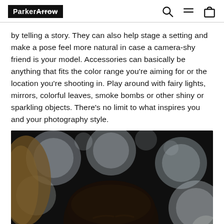ParkerArrow [logo] with search, menu, and cart icons
by telling a story. They can also help stage a setting and make a pose feel more natural in case a camera-shy friend is your model. Accessories can basically be anything that fits the color range you're aiming for or the location you're shooting in. Play around with fairy lights, mirrors, colorful leaves, smoke bombs or other shiny or sparkling objects. There's no limit to what inspires you and your photography style.
[Figure (photo): Close-up portrait of a woman with dark hair peeking over eyeglasses, surrounded by blurred bokeh light circles against a dark background.]